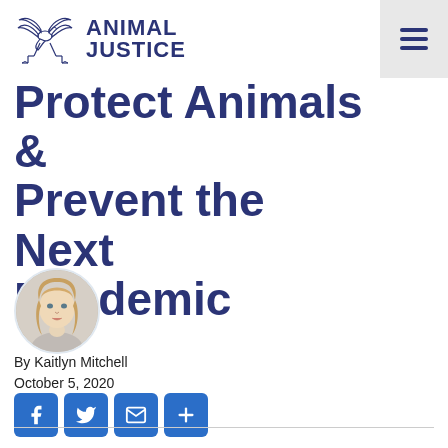Animal Justice
Protect Animals & Prevent the Next Pandemic
[Figure (photo): Circular headshot photo of Kaitlyn Mitchell, a woman with long blonde hair, on a light background]
By Kaitlyn Mitchell
October 5, 2020
[Figure (infographic): Social sharing buttons: Facebook, Twitter, Email, and More (+)]